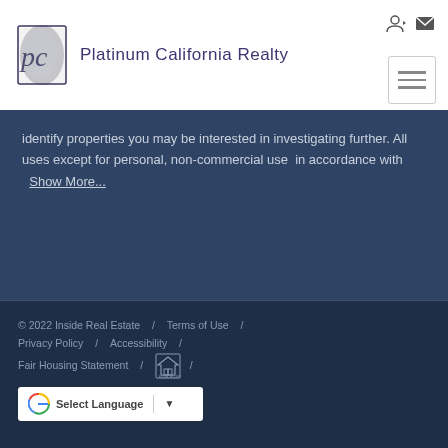Platinum California Realty
identify properties you may be interested in investigating further. All uses except for personal, non-commercial use in accordance with   Show More...
© 2022 Inside Real Estate / Terms of Use / Privacy Policy / Accessibility / Fair Housing Statement / [Equal Housing Logo] / Google Translate Select Language